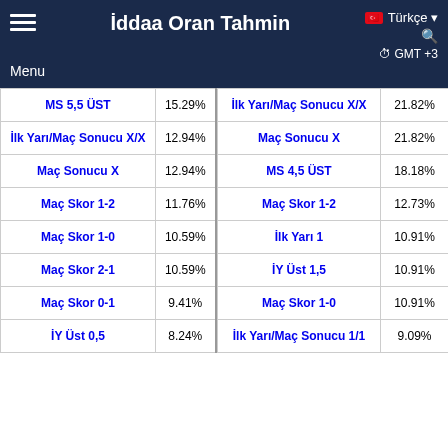İddaa Oran Tahmin — Menu — Türkçe — GMT +3
| Bet Name | Pct | Bet Name | Pct |
| --- | --- | --- | --- |
| MS 5,5 ÜST | 15.29% | İlk Yarı/Maç Sonucu X/X | 21.82% |
| İlk Yarı/Maç Sonucu X/X | 12.94% | Maç Sonucu X | 21.82% |
| Maç Sonucu X | 12.94% | MS 4,5 ÜST | 18.18% |
| Maç Skor 1-2 | 11.76% | Maç Skor 1-2 | 12.73% |
| Maç Skor 1-0 | 10.59% | İlk Yarı 1 | 10.91% |
| Maç Skor 2-1 | 10.59% | İY Üst 1,5 | 10.91% |
| Maç Skor 0-1 | 9.41% | Maç Skor 1-0 | 10.91% |
| İY Üst 0,5 | 8.24% | İlk Yarı/Maç Sonucu 1/1 | 9.09% |